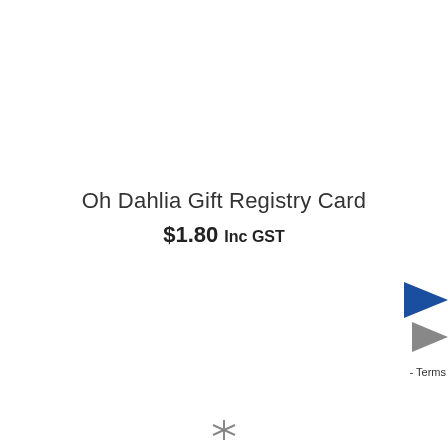Oh Dahlia Gift Registry Card
$1.80 Inc GST